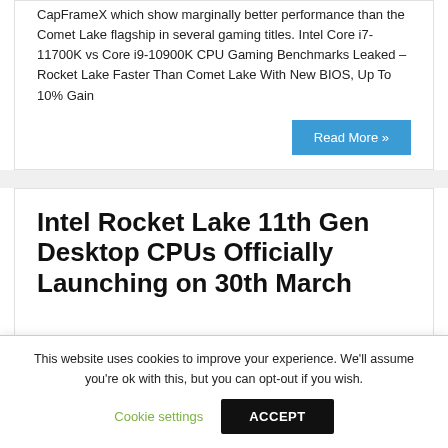CapFrameX which show marginally better performance than the Comet Lake flagship in several gaming titles. Intel Core i7-11700K vs Core i9-10900K CPU Gaming Benchmarks Leaked – Rocket Lake Faster Than Comet Lake With New BIOS, Up To 10% Gain
Read More »
Intel Rocket Lake 11th Gen Desktop CPUs Officially Launching on 30th March
This website uses cookies to improve your experience. We'll assume you're ok with this, but you can opt-out if you wish.
Cookie settings
ACCEPT